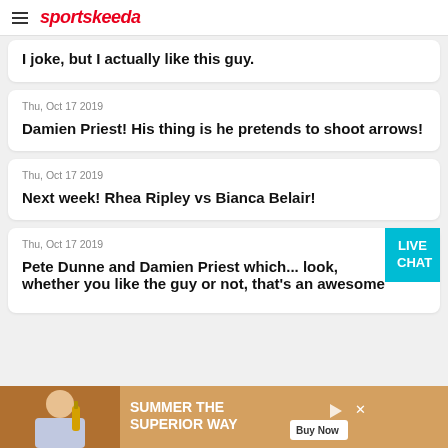sportskeeda
I joke, but I actually like this guy.
Thu, Oct 17 2019
Damien Priest! His thing is he pretends to shoot arrows!
Thu, Oct 17 2019
Next week! Rhea Ripley vs Bianca Belair!
Thu, Oct 17 2019
Pete Dunne and Damien Priest which... look, whether you like the guy or not, that's an awesome
[Figure (other): Advertisement banner: SUMMER THE SUPERIOR WAY with Buy Now button]